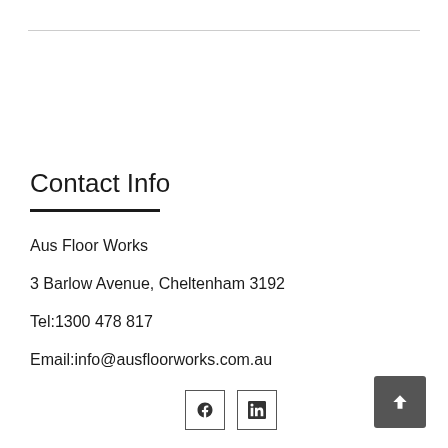Contact Info
Aus Floor Works
3 Barlow Avenue, Cheltenham 3192
Tel:1300 478 817
Email:info@ausfloorworks.com.au
[Figure (other): Facebook and LinkedIn social media icon buttons in bordered square boxes]
[Figure (other): Dark grey scroll-to-top button with upward chevron arrow]